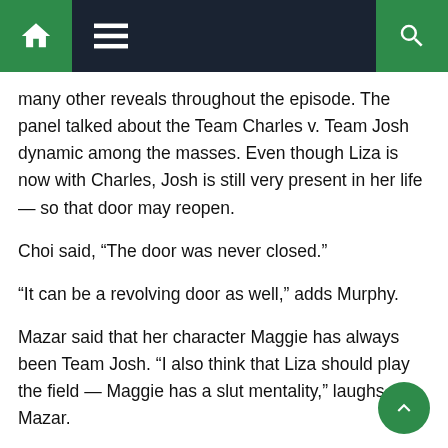Navigation bar with home, menu, and search icons
many other reveals throughout the episode. The panel talked about the Team Charles v. Team Josh dynamic among the masses. Even though Liza is now with Charles, Josh is still very present in her life — so that door may reopen.
Choi said, “The door was never closed.”
“It can be a revolving door as well,” adds Murphy.
Mazar said that her character Maggie has always been Team Josh. “I also think that Liza should play the field — Maggie has a slut mentality,” laughs Mazar.
Murphy chimes in that Maggie thinks for Liza, Josh represents a recapturing of her youth and Charles doesn’t necessarily fit into that.